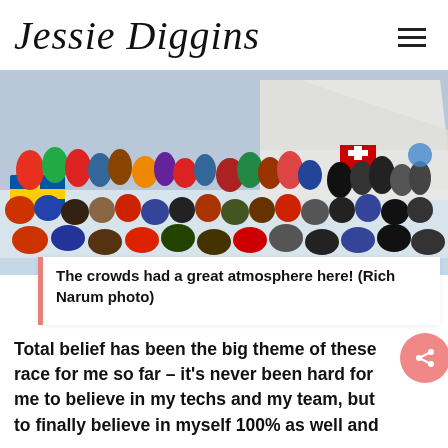Jessie Diggins
[Figure (photo): A large crowd of spectators gathered on a snowy slope at a cross-country ski race, with colorful winter gear and flags including a Swiss flag, watching the race near a large white tent structure.]
The crowds had a great atmosphere here! (Rich Narum photo)
Total belief has been the big theme of these race for me so far – it's never been hard for me to believe in my techs and my team, but to finally believe in myself 100% as well and